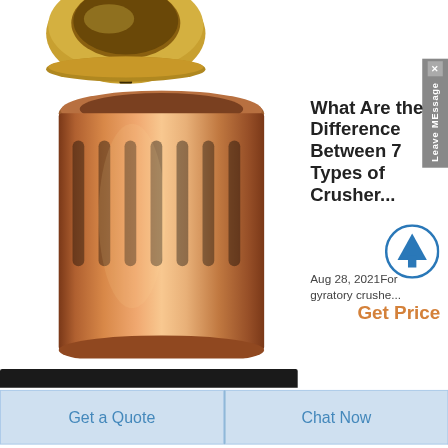[Figure (photo): Gold/bronze colored cylindrical crusher bushing viewed from above, showing partial top view with a slot/cut]
[Figure (photo): Copper-colored cylindrical crusher bushing with vertical elongated slots cut around the body, showing metallic finish]
What Are the Differences Between 7 Types of Crusher...
Aug 28, 2021For gyratory crushe...
Get Price
Leave MEssage
Get a Quote
Chat Now